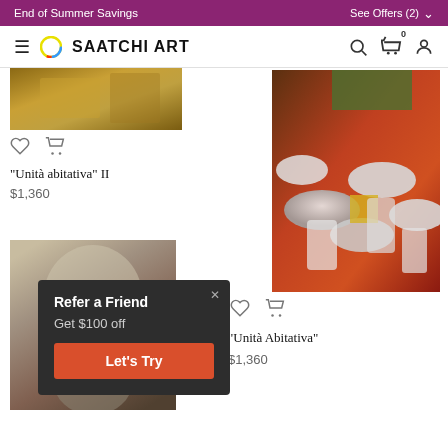End of Summer Savings | See Offers (2)
SAATCHI ART
[Figure (photo): Partial view of a painting with golden/warm tones, top portion of an art piece]
"Unità abitativa" II
$1,360
[Figure (photo): Painting showing multiple figures from above wearing white hats, with warm red and green background tones]
"Unità Abitativa"
$1,360
[Figure (photo): Partial view of a second artwork with brown/smoke tones]
Refer a Friend
Get $100 off
Let's Try